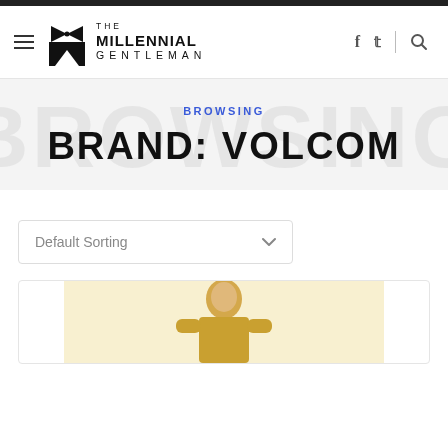[Figure (logo): The Millennial Gentleman logo with hamburger menu, M bowtie icon, site name text, and social/search icons]
BROWSING
BRAND: VOLCOM
Default Sorting
[Figure (photo): Bottom of page shows a cropped product photo with a person in a yellow/gold top]